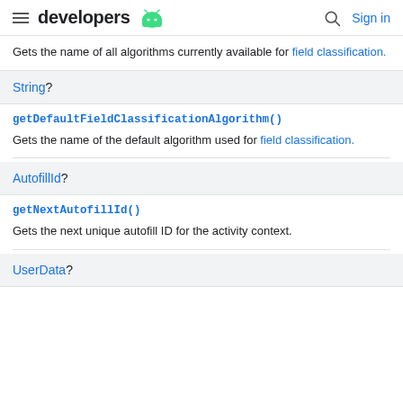developers [android icon] | [search] Sign in
Gets the name of all algorithms currently available for field classification.
String?
getDefaultFieldClassificationAlgorithm()
Gets the name of the default algorithm used for field classification.
AutofillId?
getNextAutofillId()
Gets the next unique autofill ID for the activity context.
UserData?